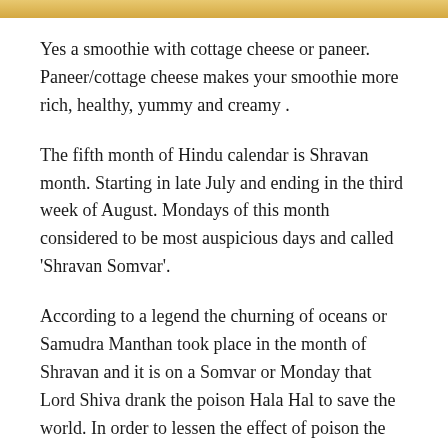[Figure (photo): Partial image strip at top of page, showing a warm golden/tan colored image (likely food photo)]
Yes a smoothie with cottage cheese or paneer. Paneer/cottage cheese makes your smoothie more rich, healthy, yummy and creamy .
The fifth month of Hindu calendar is Shravan month. Starting in late July and ending in the third week of August. Mondays of this month considered to be most auspicious days and called 'Shravan Somvar'.
According to a legend the churning of oceans or Samudra Manthan took place in the month of Shravan and it is on a Somvar or Monday that Lord Shiva drank the poison Hala Hal to save the world. In order to lessen the effect of poison the Devas had offered the Ganges water to Lord Shiva. Because of this on Shravan Somvar in Shiva Temples Lord Shiva is bathed with holy water by the devotees. This